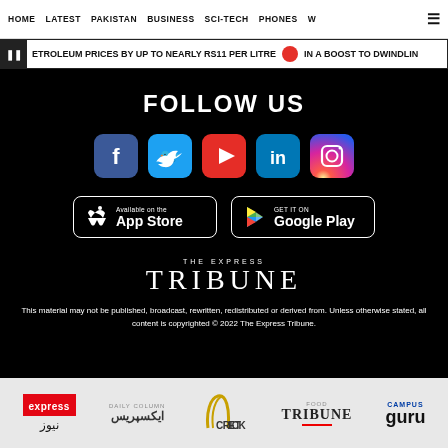HOME | LATEST | PAKISTAN | BUSINESS | SCI-TECH | PHONES | W
ETROLEUM PRICES BY UP TO NEARLY RS11 PER LITRE | IN A BOOST TO DWINDLIN
FOLLOW US
[Figure (infographic): Social media icons: Facebook, Twitter, YouTube, LinkedIn, Instagram]
[Figure (infographic): App Store and Google Play download buttons]
[Figure (logo): THE EXPRESS TRIBUNE logo in white on black background]
This material may not be published, broadcast, rewritten, redistributed or derived from. Unless otherwise stated, all content is copyrighted © 2022 The Express Tribune.
[Figure (logo): Bottom footer logos: express news, ایکسپریس, Cricket Pakistan, Food Tribune, Campus Guru]